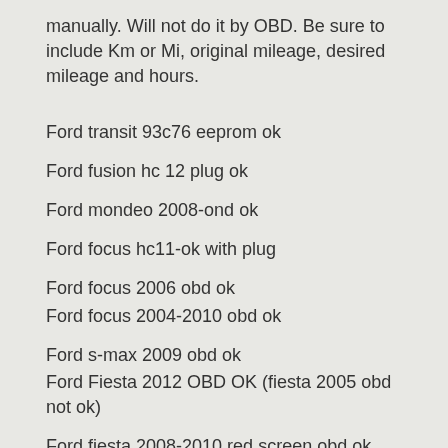manually. Will not do it by OBD. Be sure to include Km or Mi, original mileage, desired mileage and hours.
Ford transit 93c76 eeprom ok
Ford fusion hc 12 plug ok
Ford mondeo 2008-ond ok
Ford focus hc11-ok with plug
Ford focus 2006 obd ok
Ford focus 2004-2010 obd ok
Ford s-max 2009 obd ok
Ford Fiesta 2012 OBD OK (fiesta 2005 obd not ok)
Ford fiesta 2008-2010 red screen obd ok